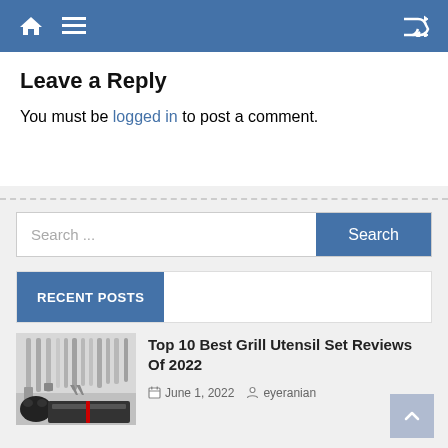Navigation bar with home, menu, and shuffle icons
Leave a Reply
You must be logged in to post a comment.
Search ...
RECENT POSTS
Top 10 Best Grill Utensil Set Reviews Of 2022
June 1, 2022   eyeranian
[Figure (photo): Thumbnail image of grill utensil set with spatulas, tongs, brushes and other BBQ tools]